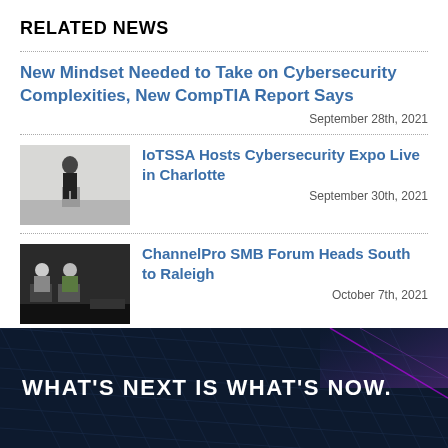RELATED NEWS
New Mindset Needed to Take on Cybersecurity Complexities, New CompTIA Report Says
September 28th, 2021
[Figure (photo): Person speaking at a podium on stage]
IoTSSA Hosts Cybersecurity Expo Live in Charlotte
September 30th, 2021
[Figure (photo): Two people sitting on chairs at a panel event]
ChannelPro SMB Forum Heads South to Raleigh
October 7th, 2021
CompTIA Tech Career Academy Opens Doors
WHAT'S NEXT IS WHAT'S NOW.